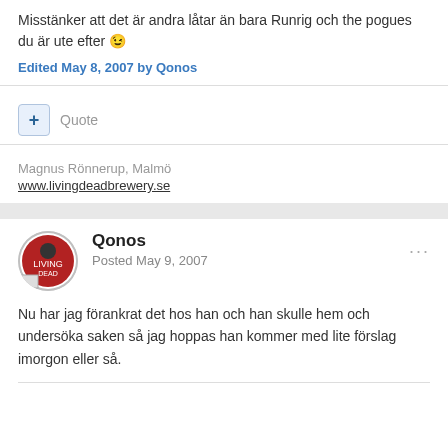Misstänker att det är andra låtar än bara Runrig och the pogues du är ute efter 😉
Edited May 8, 2007 by Qonos
Quote
Magnus Rönnerup, Malmö
www.livingdeadbrewery.se
Qonos
Posted May 9, 2007
Nu har jag förankrat det hos han och han skulle hem och undersöka saken så jag hoppas han kommer med lite förslag imorgon eller så.